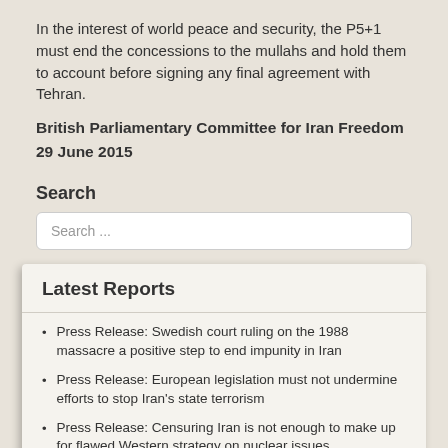In the interest of world peace and security, the P5+1 must end the concessions to the mullahs and hold them to account before signing any final agreement with Tehran.
British Parliamentary Committee for Iran Freedom
29 June 2015
Search
Search ...
Latest Reports
Press Release: Swedish court ruling on the 1988 massacre a positive step to end impunity in Iran
Press Release: European legislation must not undermine efforts to stop Iran's state terrorism
Press Release: Censuring Iran is not enough to make up for flawed Western strategy on nuclear issues
Press Release: British MPs join Arab, Iranian community...